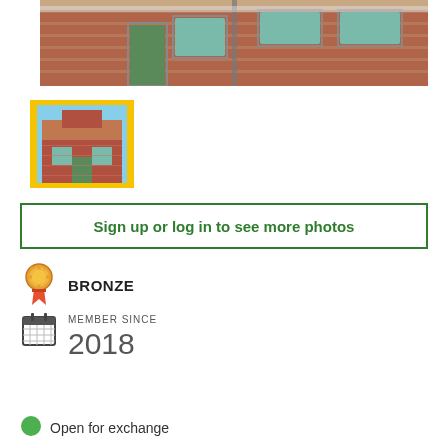[Figure (photo): Brick building exterior with green door and windows, red brick facade]
[Figure (photo): Small thumbnail of brick house with red/orange roof, yellow border frame]
Sign up or log in to see more photos
[Figure (infographic): Bronze medal/award badge icon in orange/gold color]
BRONZE
[Figure (infographic): Calendar icon]
MEMBER SINCE
2018
[Figure (infographic): Green circle dot icon]
Open for exchange